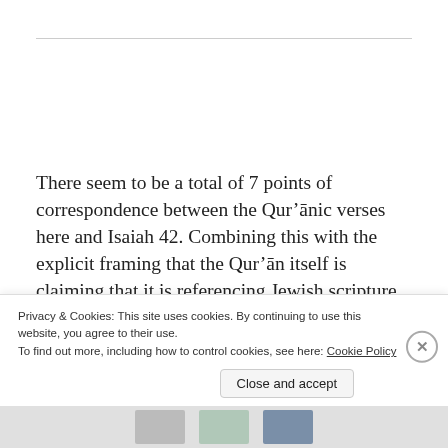There seem to be a total of 7 points of correspondence between the Qur'ānic verses here and Isaiah 42. Combining this with the explicit framing that the Qur'ān itself is claiming that it is referencing Jewish scripture (7:157 – maktūban ʿindahum fī al-tawrāti…),
Privacy & Cookies: This site uses cookies. By continuing to use this website, you agree to their use.
To find out more, including how to control cookies, see here: Cookie Policy
Close and accept